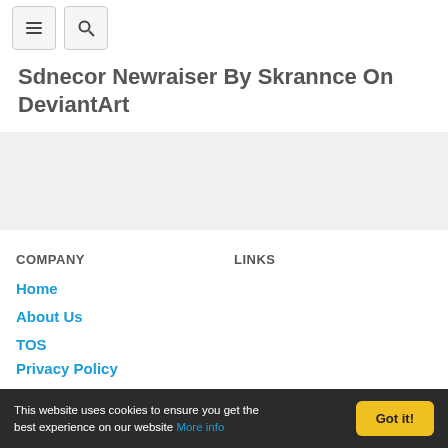Sdnecor Newraiser By Skrannce On DeviantArt
COMPANY
LINKS
Home
About Us
TOS
Privacy Policy
Contact
This website uses cookies to ensure you get the best experience on our website More info  Got it!